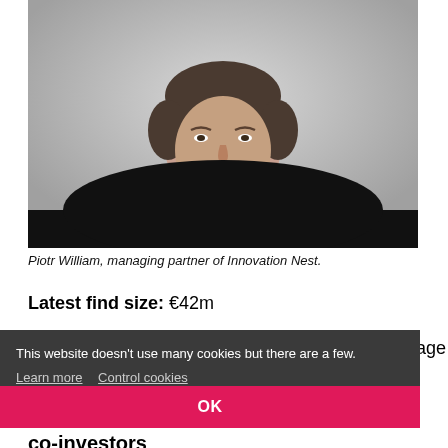[Figure (photo): Professional headshot of Piotr William, a man in a black long-sleeve shirt against a grey background, smiling.]
Piotr William, managing partner of Innovation Nest.
Latest find size: €42m
stage
This website doesn't use many cookies but there are a few. Learn more  Control cookies
OK
co-investors